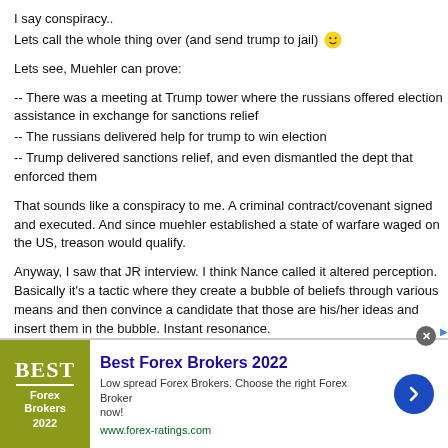I say conspiracy..
Lets call the whole thing over (and send trump to jail) 🙂
Lets see, Muehler can prove:
-- There was a meeting at Trump tower where the russians offered election assistance in exchange for sanctions relief
-- The russians delivered help for trump to win election
-- Trump delivered sanctions relief, and even dismantled the dept that enforced them
That sounds like a conspiracy to me. A criminal contract/covenant signed and executed. And since muehler established a state of warfare waged on the US, treason would qualify.
Anyway, I saw that JR interview. I think Nance called it altered perception. Basically it's a tactic where they create a bubble of beliefs through various means and then convince a candidate that those are his/her ideas and insert them in the bubble. Instant resonance.
But that is more of a manipulation; where trump is merely a useful idiot. In reality, he is an active agent of a foreign governemt. Perhaps not completely willing, but fully participating nonetheless.
[Figure (infographic): Best Forex Brokers 2022 advertisement banner with olive/yellow-green logo on left, ad title and description in center, and blue arrow button on right.]